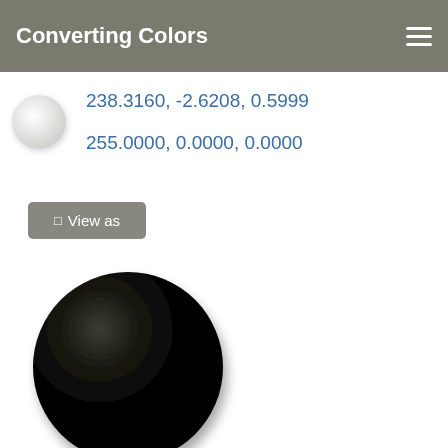Converting Colors
238.3160, -2.6208, 0.5999
255.0000, 0.0000, 0.0000
⊟ View as
[Figure (illustration): Large dark black circle with radial gradient, shown as a 3D sphere-like color swatch on a white background.]
129.4300, -2.1840, 0.4999